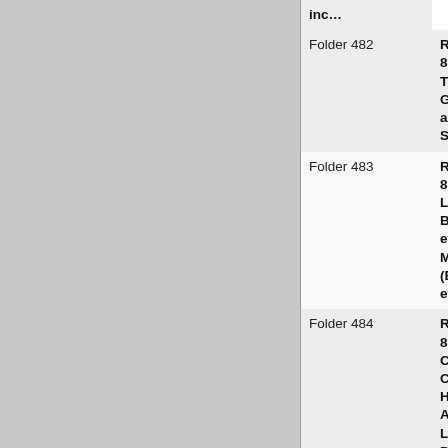| Folder | Description |
| --- | --- |
| Folder 482 | Raleigh D… 86-172-CI… Tianna Ma… Galloway,… al. v. Unite… States of … |
| Folder 483 | Raleigh D… 86-298-CI… Leslie P. Burroughs… etc., et al. Margaret (Beverly)… etc. |
| Folder 484 | Raleigh D… 86-385-CI… Contempe… Classic Lo… Homes By… American… Lincoln, L… Pennsylva… Lumberm… Mutual Ins… Company… |